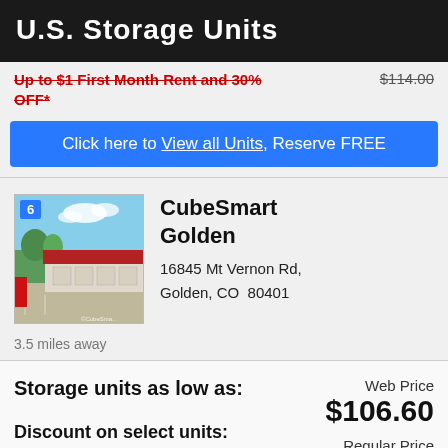U.S. Storage Units
Up to $1 First Month Rent and 30% OFF*
$114.00 (strikethrough)
Click here to View all Units, Reserve FREE
[Figure (photo): Exterior photo of CubeSmart Golden storage facility with red roof and blue sky, numbered marker 6]
CubeSmart Golden
16845 Mt Vernon Rd, Golden, CO  80401
3.5 miles away
Storage units as low as:
Web Price
$106.60
Discount on select units:
Regular Price